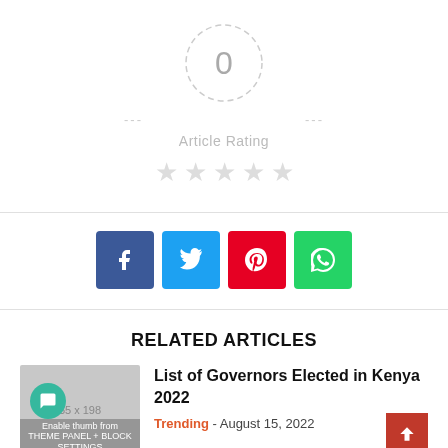[Figure (infographic): Article rating widget showing a dashed circle with '0' inside, dash lines on sides, 'Article Rating' label, and 5 empty gray stars below]
[Figure (infographic): Social media share buttons: Facebook (blue), Twitter (light blue), Pinterest (red), WhatsApp (green)]
RELATED ARTICLES
[Figure (photo): Placeholder thumbnail image showing '65 x 198' with a teal chat icon overlay and 'Enable thumb from THEME PANEL + BLOCK SETTINGS' text]
List of Governors Elected in Kenya 2022
Trending - August 15, 2022